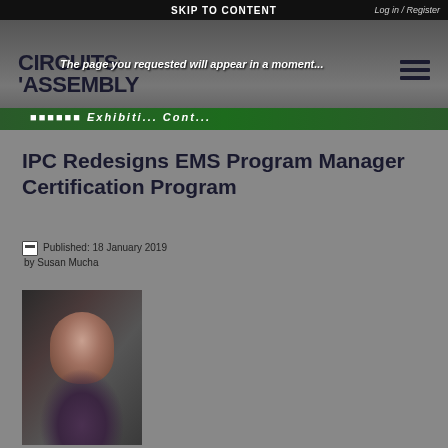SKIP TO CONTENT
Log in / Register
[Figure (logo): Circuits Assembly logo with stylized text]
The page you requested will appear in a moment...
[Figure (other): Green navigation bar with partial text visible]
IPC Redesigns EMS Program Manager Certification Program
Published: 18 January 2019
by Susan Mucha
[Figure (photo): Headshot photo of Susan Mucha, a woman with dark hair and glasses]